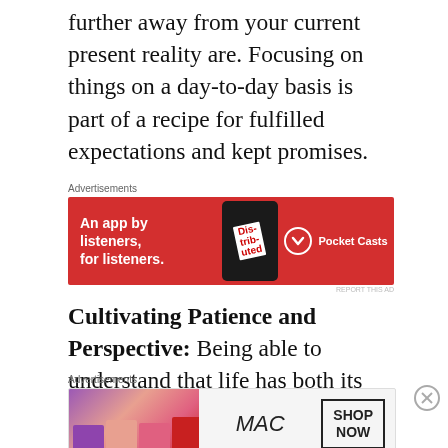further away from your current present reality are. Focusing on things on a day-to-day basis is part of a recipe for fulfilled expectations and kept promises.
[Figure (photo): Pocket Casts advertisement banner with red background. Text reads: An app by listeners, for listeners. Shows a phone with Dis-trib-uted text. Pocket Casts logo and name on right.]
REPORT THIS AD
Cultivating Patience and Perspective: Being able to understand that life has both its good and bad events, and you never know how things are really going to shake out is a true
[Figure (photo): MAC cosmetics advertisement banner showing lipsticks in purple, peach, pink, and red. Shows MAC logo in italic and SHOP NOW button.]
REPORT THIS AD